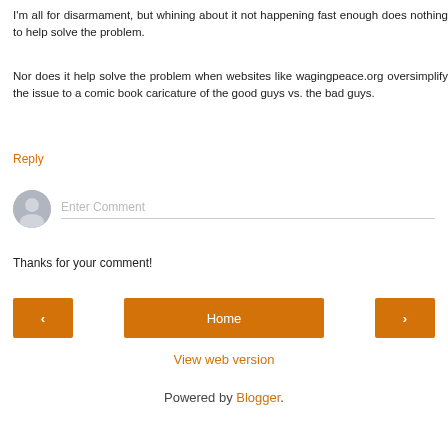I'm all for disarmament, but whining about it not happening fast enough does nothing to help solve the problem.
Nor does it help solve the problem when websites like wagingpeace.org oversimplify the issue to a comic book caricature of the good guys vs. the bad guys.
Reply
Enter Comment
Thanks for your comment!
Home
View web version
Powered by Blogger.